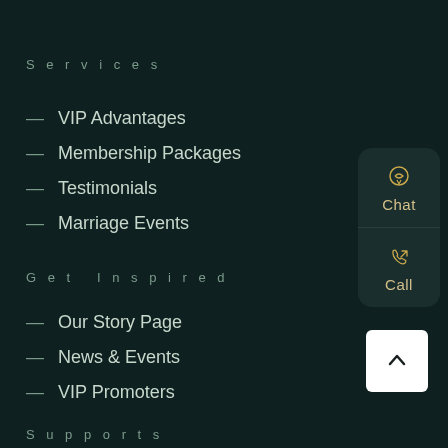Services
— VIP Advantages
— Membership Packages
— Testimonials
— Marriage Events
[Figure (infographic): Chat and Call widget buttons with gold icons on dark rounded card]
Get Inspired
— Our Story Page
— News & Events
— VIP Promoters
[Figure (infographic): Back to top arrow button — white square with upward chevron]
Supports